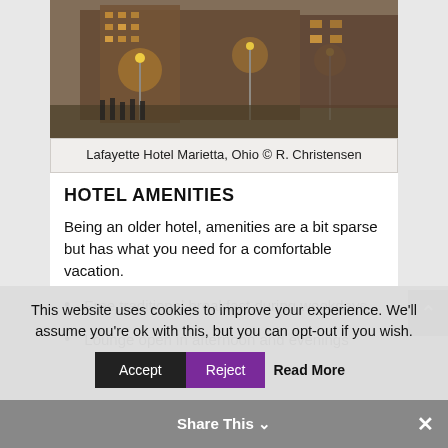[Figure (photo): Nighttime photo of Lafayette Hotel Marietta, Ohio with street lights glowing orange in foggy conditions]
Lafayette Hotel Marietta, Ohio © R. Christensen
HOTEL AMENITIES
Being an older hotel, amenities are a bit sparse but has what you need for a comfortable vacation.
Free traditional breakfast during weekdays
Lounge open in afternoon and evenings
This website uses cookies to improve your experience. We'll assume you're ok with this, but you can opt-out if you wish.
Accept | Reject | Read More
Share This